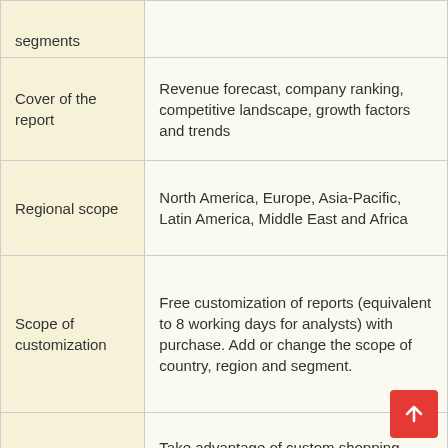| segments |  |
| Cover of the report | Revenue forecast, company ranking, competitive landscape, growth factors and trends |
| Regional scope | North America, Europe, Asia-Pacific, Latin America, Middle East and Africa |
| Scope of customization | Free customization of reports (equivalent to 8 working days for analysts) with purchase. Add or change the scope of country, region and segment. |
| Price and purchase options | Take advantage of custom shopping options to meet your exact research needs. Explore purchasing options |